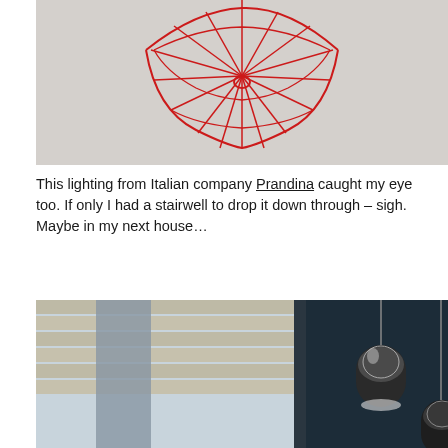[Figure (photo): A red wire frame/cage sculptural pendant light against a light grey background. The lamp shade is made of red metal wires radiating outward in a flower or sunburst pattern.]
This lighting from Italian company Prandina caught my eye too. If only I had a stairwell to drop it down through – sigh. Maybe in my next house…
[Figure (photo): Interior photograph showing pendant lights hanging in a dark navy blue room. The lights have a capsule/pill shaped glass shade. On the left side there is a window with a concrete or stone column and wooden wall paneling visible through it.]